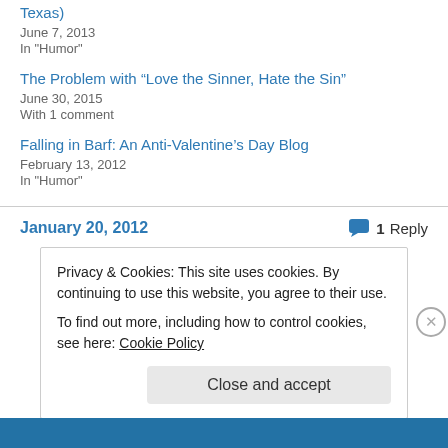Texas)
June 7, 2013
In "Humor"
The Problem with “Love the Sinner, Hate the Sin”
June 30, 2015
With 1 comment
Falling in Barf: An Anti-Valentine’s Day Blog
February 13, 2012
In "Humor"
January 20, 2012
1 Reply
Privacy & Cookies: This site uses cookies. By continuing to use this website, you agree to their use. To find out more, including how to control cookies, see here: Cookie Policy
Close and accept